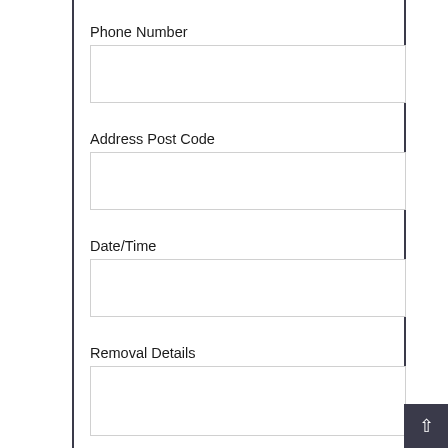Phone Number
Address Post Code
Date/Time
Removal Details